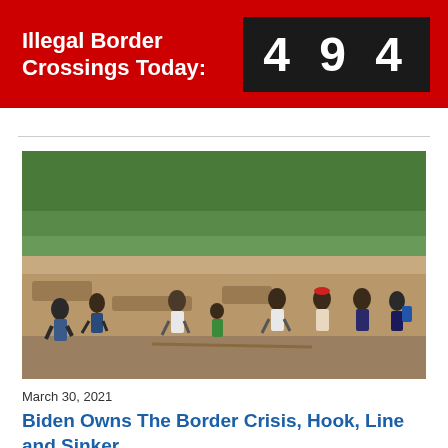Illegal Border Crossings Today: 494
[Figure (photo): Group of people running across a muddy terrain near a river bank with green vegetation in the background]
March 30, 2021
Biden Owns The Border Crisis, Hook, Line and Sinker